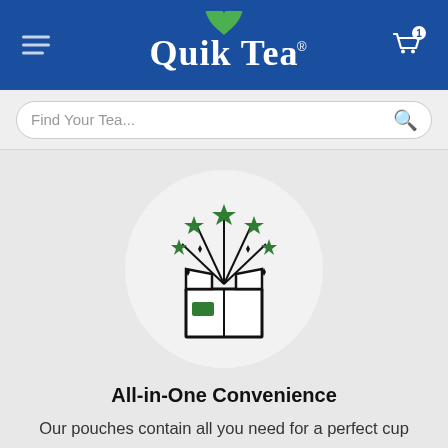[Figure (logo): Quik Tea logo with green leaf on blue background header with hamburger menu and cart icon]
[Figure (screenshot): Search bar with placeholder text 'Find Your Tea...' and search icon]
[Figure (illustration): White circle containing icon of open box with green stars and sparkles bursting out]
All-in-One Convenience
Our pouches contain all you need for a perfect cup every time – just add hot water, stir and ENJOY!